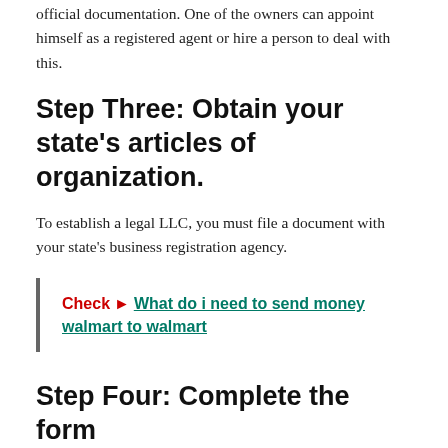agent whose purpose is to take care of the company's official documentation. One of the owners can appoint himself as a registered agent or hire a person to deal with this.
Step Three: Obtain your state's articles of organization.
To establish a legal LLC, you must file a document with your state's business registration agency.
Check ► What do i need to send money walmart to walmart
Step Four: Complete the form
Each state has a form with specific requirements. However, the general features include company name,